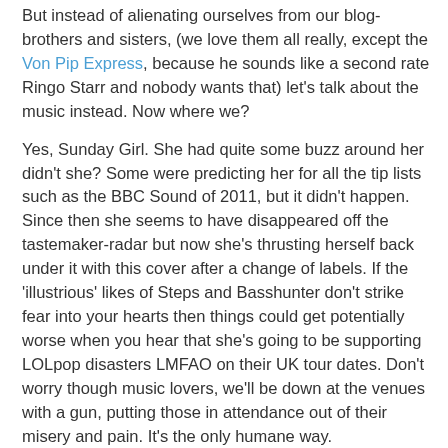But instead of alienating ourselves from our blog-brothers and sisters, (we love them all really, except the Von Pip Express, because he sounds like a second rate Ringo Starr and nobody wants that) let's talk about the music instead. Now where we?
Yes, Sunday Girl. She had quite some buzz around her didn't she? Some were predicting her for all the tip lists such as the BBC Sound of 2011, but it didn't happen. Since then she seems to have disappeared off the tastemaker-radar but now she's thrusting herself back under it with this cover after a change of labels. If the 'illustrious' likes of Steps and Basshunter don't strike fear into your hearts then things could get potentially worse when you hear that she's going to be supporting LOLpop disasters LMFAO on their UK tour dates. Don't worry though music lovers, we'll be down at the venues with a gun, putting those in attendance out of their misery and pain. It's the only humane way.
So here's the twist. Sunday Girl's version of Love U More is OK. It's not innovative, it's certainly not ground-breaking, but a straightforward (rock journos use the word 'honest' at this point) club banger that you can use to your exit, it is the right...